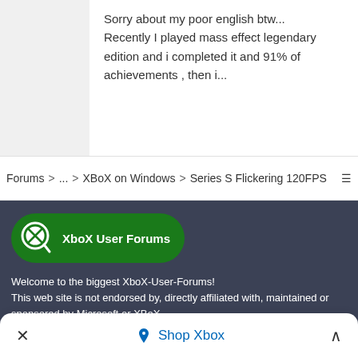Sorry about my poor english btw...
Recently I played mass effect legendary edition and i completed it and 91% of achievements , then i...
Forums > ... > XBoX on Windows > Series S Flickering 120FPS ≡
[Figure (logo): XboX User Forums logo badge — green rounded rectangle with Xbox magnifier icon and white bold text 'XboX User Forums']
Welcome to the biggest XboX-User-Forums!
This web site is not endorsed by, directly affiliated with, maintained or sponsored by Microsoft or XBoX.
All product and company names are the registered
✕    ◇ Shop Xbox    ∧